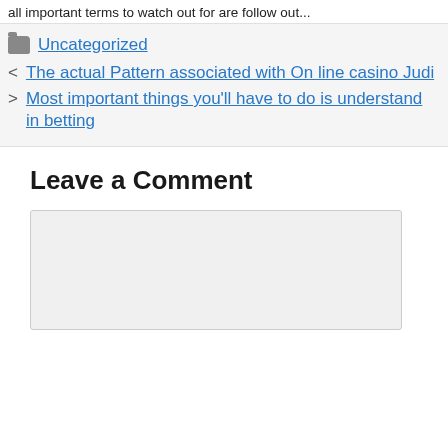all important terms to watch out for are follow out...
Uncategorized
The actual Pattern associated with On line casino Judi
Most important things you'll have to do is understand in betting
Leave a Comment